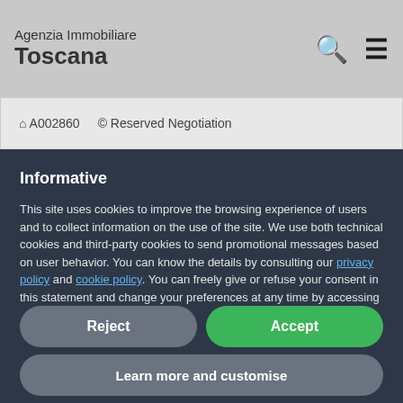Agenzia Immobiliare Toscana
A002860   © Reserved Negotiation
Informative
This site uses cookies to improve the browsing experience of users and to collect information on the use of the site. We use both technical cookies and third-party cookies to send promotional messages based on user behavior. You can know the details by consulting our privacy policy and cookie policy. You can freely give or refuse your consent in this statement and change your preferences at any time by accessing the preferences panel.
Reject
Accept
Learn more and customise